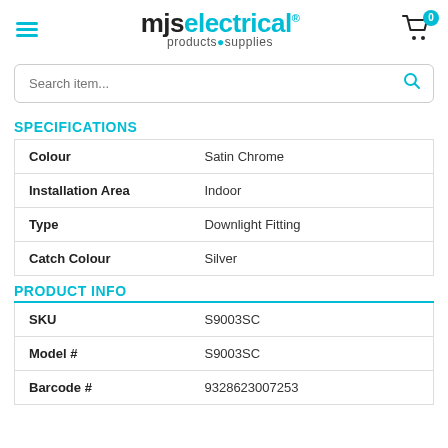mjs electrical products & supplies
Search item...
SPECIFICATIONS
|  |  |
| --- | --- |
| Colour | Satin Chrome |
| Installation Area | Indoor |
| Type | Downlight Fitting |
| Catch Colour | Silver |
PRODUCT INFO
|  |  |
| --- | --- |
| SKU | S9003SC |
| Model # | S9003SC |
| Barcode # | 9328623007253 |